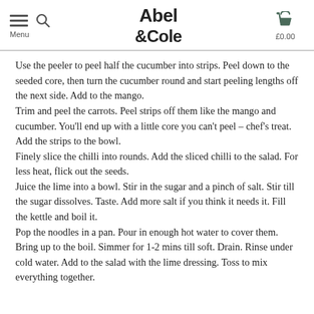Abel & Cole | Menu | £0.00
Use the peeler to peel half the cucumber into strips. Peel down to the seeded core, then turn the cucumber round and start peeling lengths off the next side. Add to the mango.
Trim and peel the carrots. Peel strips off them like the mango and cucumber. You'll end up with a little core you can't peel – chef's treat. Add the strips to the bowl.
Finely slice the chilli into rounds. Add the sliced chilli to the salad. For less heat, flick out the seeds.
Juice the lime into a bowl. Stir in the sugar and a pinch of salt. Stir till the sugar dissolves. Taste. Add more salt if you think it needs it. Fill the kettle and boil it.
Pop the noodles in a pan. Pour in enough hot water to cover them. Bring up to the boil. Simmer for 1-2 mins till soft. Drain. Rinse under cold water. Add to the salad with the lime dressing. Toss to mix everything together.